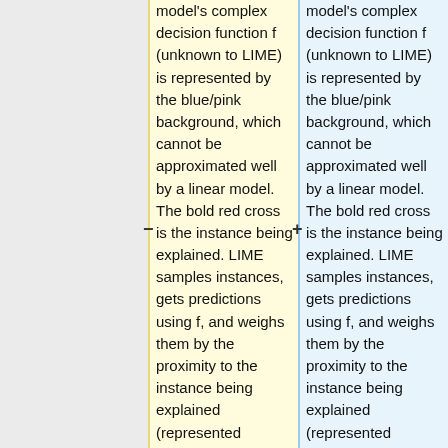model's complex decision function f (unknown to LIME) is represented by the blue/pink background, which cannot be approximated well by a linear model. The bold red cross is the instance being explained. LIME samples instances, gets predictions using f, and weighs them by the proximity to the instance being explained (represented
model's complex decision function f (unknown to LIME) is represented by the blue/pink background, which cannot be approximated well by a linear model. The bold red cross is the instance being explained. LIME samples instances, gets predictions using f, and weighs them by the proximity to the instance being explained (represented